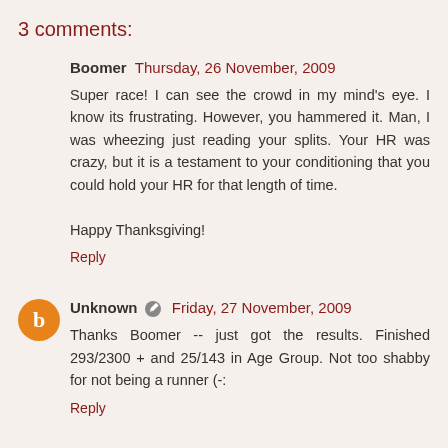3 comments:
Boomer  Thursday, 26 November, 2009
Super race! I can see the crowd in my mind's eye. I know its frustrating. However, you hammered it. Man, I was wheezing just reading your splits. Your HR was crazy, but it is a testament to your conditioning that you could hold your HR for that length of time.

Happy Thanksgiving!
Reply
Unknown  Friday, 27 November, 2009
Thanks Boomer -- just got the results. Finished 293/2300 + and 25/143 in Age Group. Not too shabby for not being a runner (-:
Reply